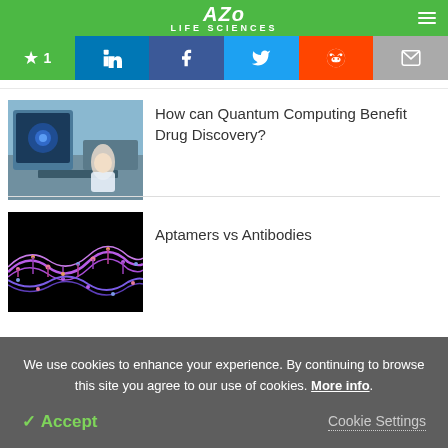AZO LIFE SCIENCES
[Figure (screenshot): Social media sharing bar with star/bookmark (1), LinkedIn, Facebook, Twitter, Reddit, and email icons]
[Figure (photo): Scientist in lab coat working at a computer monitor showing microscopy images]
How can Quantum Computing Benefit Drug Discovery?
[Figure (photo): DNA strand visualization on black background with colorful molecular structure]
Aptamers vs Antibodies
We use cookies to enhance your experience. By continuing to browse this site you agree to our use of cookies. More info.
✓ Accept
Cookie Settings